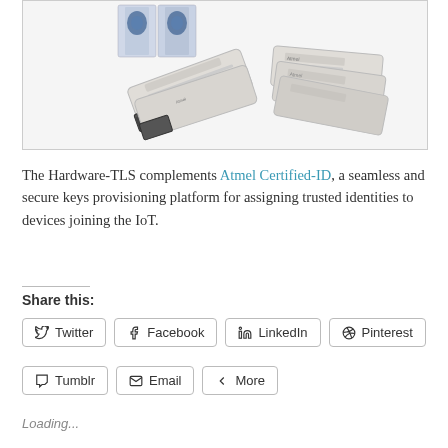[Figure (photo): Product photo showing Atmel Hardware-TLS USB security dongles and flat card-style devices on a white background, with product packaging boxes in the background.]
The Hardware-TLS complements Atmel Certified-ID, a seamless and secure keys provisioning platform for assigning trusted identities to devices joining the IoT.
Share this:
Twitter | Facebook | LinkedIn | Pinterest | Tumblr | Email | More
Loading...